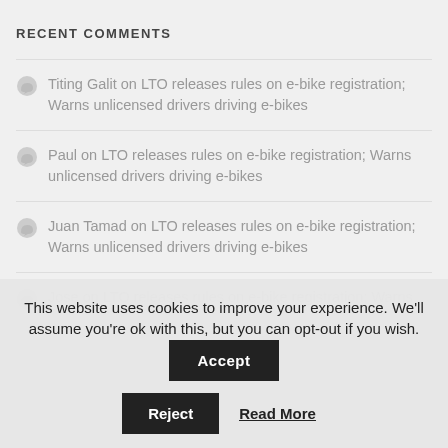RECENT COMMENTS
Titing Galit on LTO releases rules on e-bike registration; Warns unlicensed drivers driving e-bikes
Paul on LTO releases rules on e-bike registration; Warns unlicensed drivers driving e-bikes
Juan Tamad on LTO releases rules on e-bike registration; Warns unlicensed drivers driving e-bikes
Jose on LTO releases rules on e-bike registration; Warns...
This website uses cookies to improve your experience. We'll assume you're ok with this, but you can opt-out if you wish. Accept Reject Read More